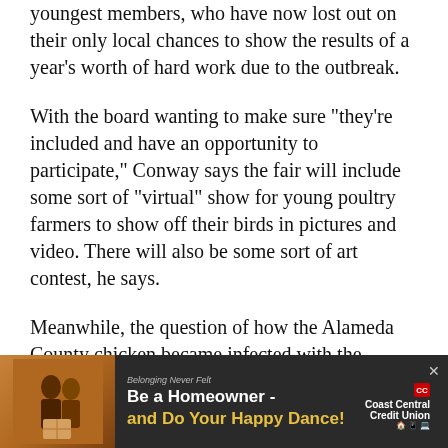youngest members, who have now lost out on their only local chances to show the results of a year's worth of hard work due to the outbreak.
With the board wanting to make sure "they're included and have an opportunity to participate," Conway says the fair will include some sort of "virtual" show for young poultry farmers to show off their birds in pictures and video. There will also be some sort of art contest, he says.
Meanwhile, the question of how the Alameda County chicken became infected with the virulent disease remains unanswered — at least for the time being.
Cooney notes these cases are "very, very difficult to investigate — and we've been at it for a few weeks."
[Figure (photo): Advertisement banner for Coast Central Credit Union: 'Be a Homeowner - and Do Your Happy Dance!' with photo of couple and credit union logo. Dark background.]